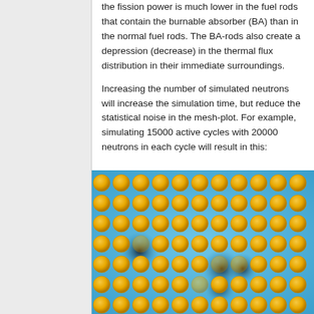the fission power is much lower in the fuel rods that contain the burnable absorber (BA) than in the normal fuel rods. The BA-rods also create a depression (decrease) in the thermal flux distribution in their immediate surroundings.
Increasing the number of simulated neutrons will increase the simulation time, but reduce the statistical noise in the mesh-plot. For example, simulating 15000 active cycles with 20000 neutrons in each cycle will result in this:
[Figure (other): Nuclear reactor fuel rod assembly mesh-plot showing a grid of orange/yellow circular fuel rods on a blue background, with dark spots (depressions) at locations of burnable absorber rods indicating lower thermal flux.]